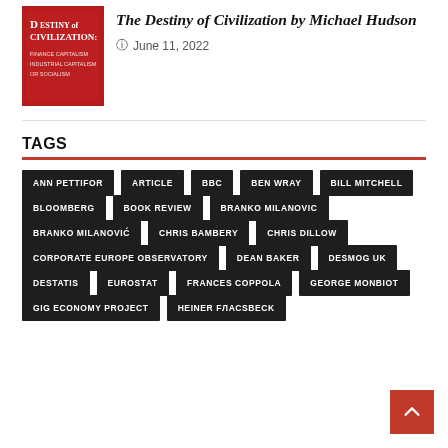[Figure (illustration): Red book cover for 'The Destiny of Civilization' with white text]
The Destiny of Civilization by Michael Hudson
June 11, 2022
TAGS
ANN PETTIFOR
ARTICLE
BBC
BEN WRAY
BILL MITCHELL
BLOOMBERG
BOOK REVIEW
BRANKO MILANOVIC
BRANKO MILANOVIĆ
CHRIS BAMBERY
CHRIS DILLOW
CORPORATE EUROPE OBSERVATORY
DEAN BAKER
DESMOG UK
DESTATIS
EUROSTAT
FRANCES COPPOLA
GEORGE MONBIOT
GIG ECONOMY PROJECT
HEINER FЛАСSBECK